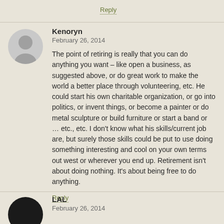Reply
Kenoryn
February 26, 2014
The point of retiring is really that you can do anything you want – like open a business, as suggested above, or do great work to make the world a better place through volunteering, etc. He could start his own charitable organization, or go into politics, or invent things, or become a painter or do metal sculpture or build furniture or start a band or … etc., etc. I don't know what his skills/current job are, but surely those skills could be put to use doing something interesting and cool on your own terms out west or wherever you end up. Retirement isn't about doing nothing. It's about being free to do anything.
Reply
LAL
February 26, 2014